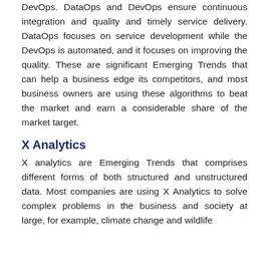DevOps. DataOps and DevOps ensure continuous integration and quality and timely service delivery. DataOps focuses on service development while the DevOps is automated, and it focuses on improving the quality. These are significant Emerging Trends that can help a business edge its competitors, and most business owners are using these algorithms to beat the market and earn a considerable share of the market target.
X Analytics
X analytics are Emerging Trends that comprises different forms of both structured and unstructured data. Most companies are using X Analytics to solve complex problems in the business and society at large, for example, climate change and wildlife